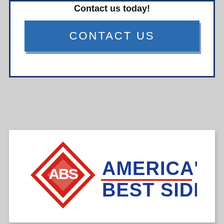Contact us today!
CONTACT US
[Figure (logo): America's Best Siding logo with red diamond shape containing ABS letters and blue text reading AMERICA'S BEST SIDING]